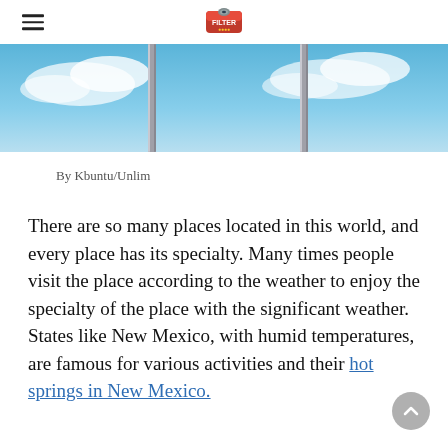hamburger menu icon and logo
[Figure (photo): A scenic blue sky image with two vertical metal poles or rails visible against a bright blue sky with light clouds.]
By Kbuntu/Unlim
There are so many places located in this world, and every place has its specialty. Many times people visit the place according to the weather to enjoy the specialty of the place with the significant weather. States like New Mexico, with humid temperatures, are famous for various activities and their hot springs in New Mexico.